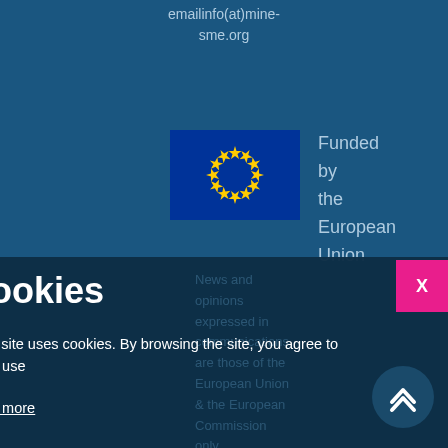emailinfo(at)mine-sme.org
[Figure (logo): European Union flag – blue rectangle with circle of 12 gold stars]
Funded by the European Union
News and opinions expressed in communications are those of the European Union & the European Commission only.
Cookies
This site uses cookies. By browsing the site, you agree to their use
Read more